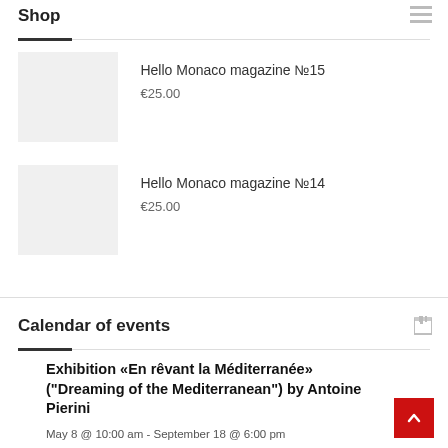Shop
Hello Monaco magazine №15
€25.00
Hello Monaco magazine №14
€25.00
Calendar of events
Exhibition «En rêvant la Méditerranée» ("Dreaming of the Mediterranean") by Antoine Pierini
May 8 @ 10:00 am - September 18 @ 6:00 pm